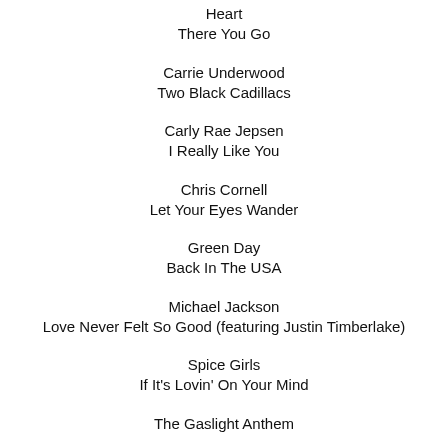Heart
There You Go
Carrie Underwood
Two Black Cadillacs
Carly Rae Jepsen
I Really Like You
Chris Cornell
Let Your Eyes Wander
Green Day
Back In The USA
Michael Jackson
Love Never Felt So Good (featuring Justin Timberlake)
Spice Girls
If It's Lovin' On Your Mind
The Gaslight Anthem